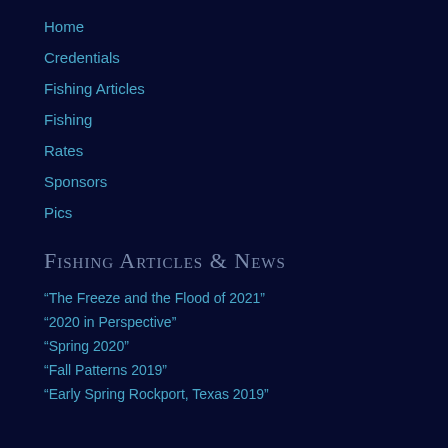Home
Credentials
Fishing Articles
Fishing
Rates
Sponsors
Pics
Fishing Articles & News
“The Freeze and the Flood of 2021”
“2020 in Perspective”
“Spring 2020”
“Fall Patterns 2019”
“Early Spring Rockport, Texas 2019”